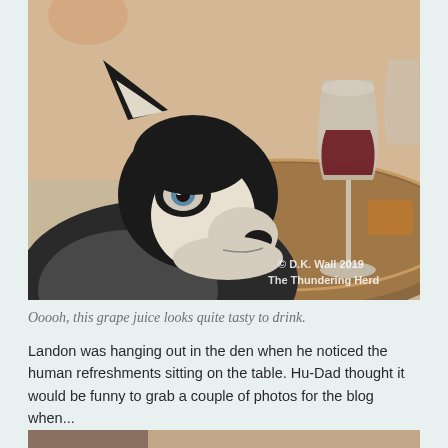[Figure (photo): A Siberian Husky dog resting its chin on a round wooden table, looking at a glass of red wine. The dog has blue eyes and black and white fur. A watermark reads '© D.K. Wall 2019 The Thundering Herd' in the lower right corner of the photo.]
Ooooh, this grape juice looks quite tasty to drink.
Landon was hanging out in the den when he noticed the human refreshments sitting on the table. Hu-Dad thought it would be funny to grab a couple of photos for the blog when...
[Figure (photo): Partial view of another photo at the bottom of the page, showing a warm-toned indoor scene.]